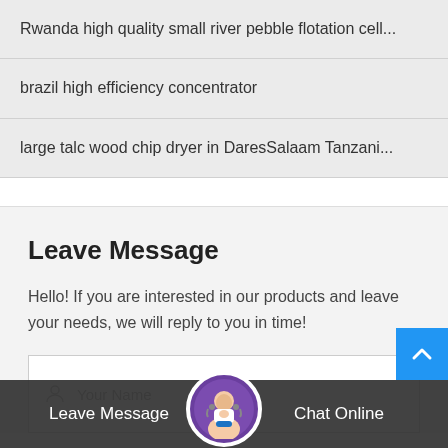Rwanda high quality small river pebble flotation cell...
brazil high efficiency concentrator
large talc wood chip dryer in DaresSalaam Tanzani...
Leave Message
Hello! If you are interested in our products and leave your needs, we will reply to you in time!
Your Name
Leave Message   Chat Online